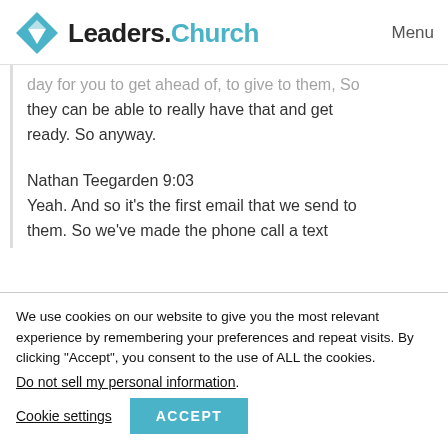[Figure (logo): Leaders.Church logo with teal diamond shape containing a white triangle/arrow, followed by bold text 'Leaders.' in black and 'Church' in teal]
Menu
...day for you to get ahead of, to give to them, so they can be able to really have that and get ready. So anyway.
Nathan Teegarden 9:03
Yeah. And so it's the first email that we send to them. So we've made the phone call a text
We use cookies on our website to give you the most relevant experience by remembering your preferences and repeat visits. By clicking “Accept”, you consent to the use of ALL the cookies.
Do not sell my personal information.
Cookie settings
ACCEPT